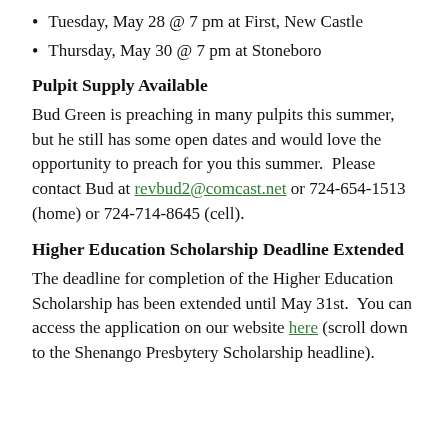Tuesday, May 28 @ 7 pm at First, New Castle
Thursday, May 30 @ 7 pm at Stoneboro
Pulpit Supply Available
Bud Green is preaching in many pulpits this summer, but he still has some open dates and would love the opportunity to preach for you this summer.  Please contact Bud at revbud2@comcast.net or 724-654-1513 (home) or 724-714-8645 (cell).
Higher Education Scholarship Deadline Extended
The deadline for completion of the Higher Education Scholarship has been extended until May 31st.  You can access the application on our website here (scroll down to the Shenango Presbytery Scholarship headline).